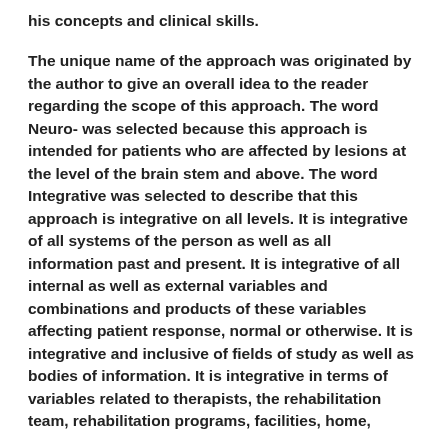his concepts and clinical skills.
The unique name of the approach was originated by the author to give an overall idea to the reader regarding the scope of this approach. The word Neuro- was selected because this approach is intended for patients who are affected by lesions at the level of the brain stem and above. The word Integrative was selected to describe that this approach is integrative on all levels. It is integrative of all systems of the person as well as all information past and present. It is integrative of all internal as well as external variables and combinations and products of these variables affecting patient response, normal or otherwise. It is integrative and inclusive of fields of study as well as bodies of information. It is integrative in terms of variables related to therapists, the rehabilitation team, rehabilitation programs, facilities, home,